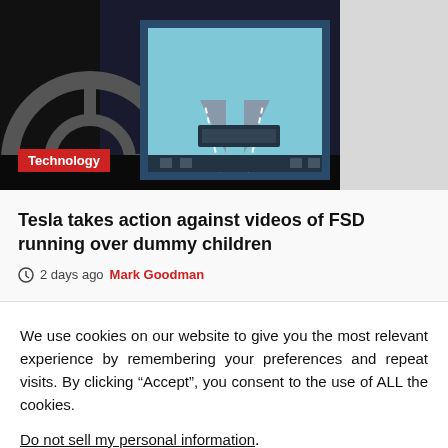[Figure (photo): Tesla car interior dashboard with large touchscreen showing autopilot/FSD visualization, steering wheel visible on left]
Technology
Tesla takes action against videos of FSD running over dummy children
2 days ago  Mark Goodman
We use cookies on our website to give you the most relevant experience by remembering your preferences and repeat visits. By clicking “Accept”, you consent to the use of ALL the cookies.
Do not sell my personal information.
Cookie Settings  Accept